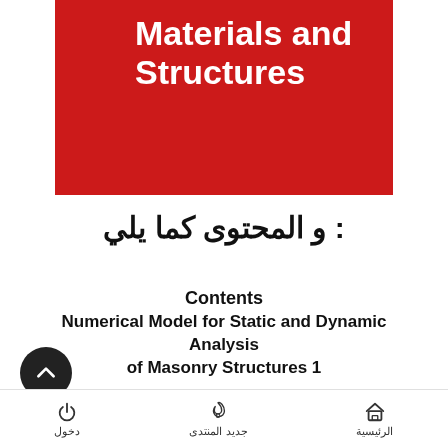[Figure (illustration): Red book cover with white bold text reading 'Materials and Structures']
و المحتوى كما يلي :
Contents
Numerical Model for Static and Dynamic Analysis
of Masonry Structures 1
Jure Radnić, Domagoj Matešan, Alen...
دخول  جديد المنتدى  الرئيسية